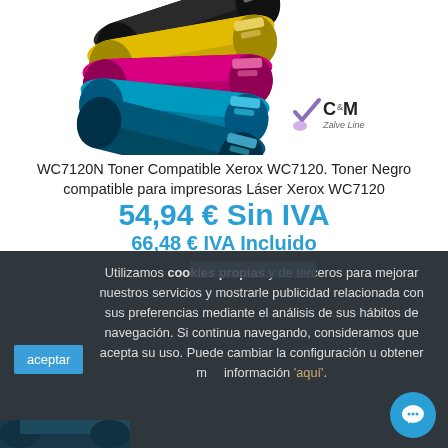[Figure (photo): Five toner cartridges (black, yellow, magenta, cyan colors) arranged in a fan/stack with C&M Zalve Line logo]
WC7120N Toner Compatible Xerox WC7120. Toner Negro compatible para impresoras Láser Xerox WC7120
54,94 € Sin IVA
66,48 € IVA Incluido
Utilizamos cookies propias y de terceros para mejorar nuestros servicios y mostrarle publicidad relacionada con sus preferencias mediante el análisis de sus hábitos de navegación. Si continua navegando, consideramos que acepta su uso. Puede cambiar la configuración u obtener más información 'aquí'.
aceptar